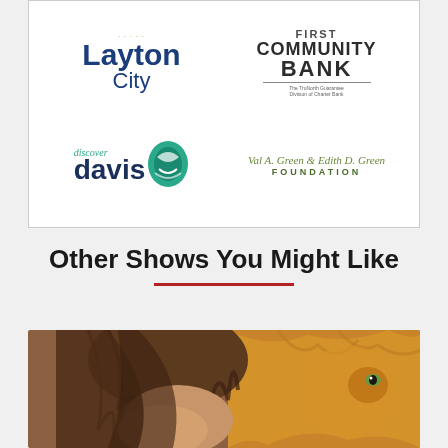[Figure (logo): Sponsors box containing four logos: Layton City, First Community Bank, Discover Davis, and Val A. Green & Edith D. Green Foundation arranged in a 2x2 grid]
Other Shows You Might Like
[Figure (photo): Photo of a young boy with brown hair close to a lion (golden/orange fur), both facing the camera]